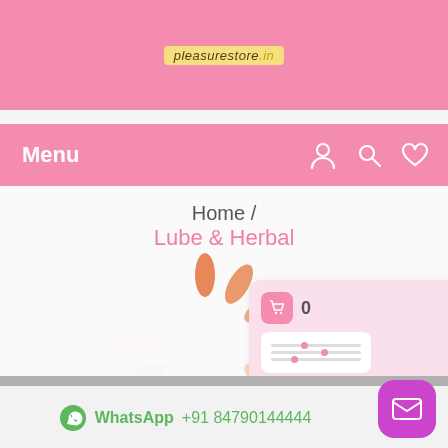pleasurestore.in
Menu
Home / Lube & Herbal
[Figure (other): Circular loading spinner made of orange and pink oval petals arranged in a ring]
0
₹0.
Lube & Herbal
WhatsApp +91 847901444...